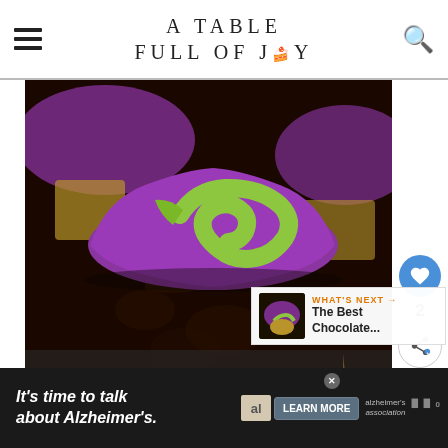A TABLE FULL OF JOY
[Figure (photo): Close-up photo of a chocolate cupcake with purple and green frosting. The cupcake has a bite taken out revealing the dark chocolate cake inside. In the background are more cupcakes with purple frosting.]
WHAT'S NEXT → The Best Chocolate...
It's time to talk about Alzheimer's.